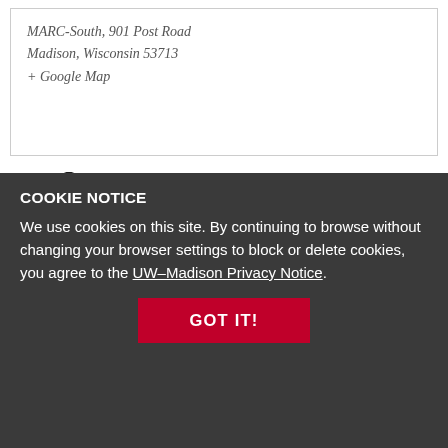MARC-South, 901 Post Road
Madison, Wisconsin 53713
+ Google Map
[Figure (illustration): CPR/first aid icon showing a person performing chest compressions on another person, with a red cross on the rescuer's chest]
Registration Fee: $95 per person. This training is open to people providing support services to adults with developmental disabilities in Dane County. Instructor: Veronika
Note: There is an 8-person minimum to hold a class.
COOKIE NOTICE
We use cookies on this site. By continuing to browse without changing your browser settings to block or delete cookies, you agree to the UW–Madison Privacy Notice.
GOT IT!